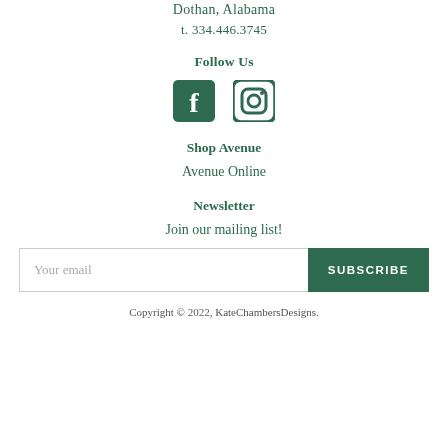Dothan, Alabama
t. 334.446.3745
Follow Us
[Figure (illustration): Facebook and Instagram social media icons in dark green]
Shop Avenue
Avenue Online
Newsletter
Join our mailing list!
Your email [input] SUBSCRIBE [button]
Copyright © 2022, KateChambersDesigns.